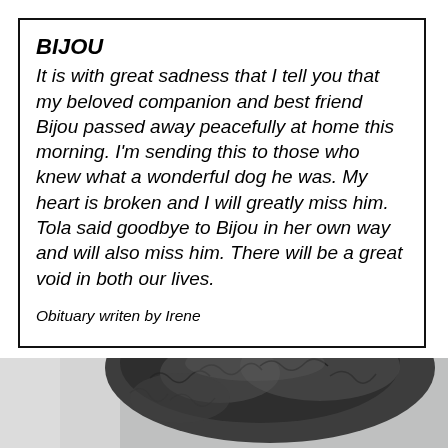BIJOU
It is with great sadness that I tell you that my beloved companion and best friend Bijou passed away peacefully at home this morning. I'm sending this to those who knew what a wonderful dog he was. My heart is broken and I will greatly miss him. Tola said goodbye to Bijou in her own way and will also miss him. There will be a great void in both our lives.
Obituary writen by Irene
[Figure (photo): Close-up photograph of a dark grey curly-haired dog (top of head and fur visible), taken from above, with a light background.]